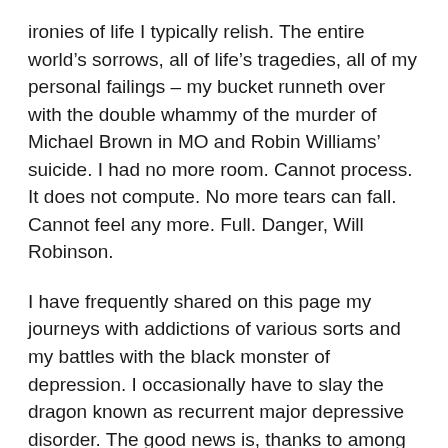ironies of life I typically relish. The entire world's sorrows, all of life's tragedies, all of my personal failings – my bucket runneth over with the double whammy of the murder of Michael Brown in MO and Robin Williams' suicide. I had no more room. Cannot process. It does not compute. No more tears can fall. Cannot feel any more. Full. Danger, Will Robinson.
I have frequently shared on this page my journeys with addictions of various sorts and my battles with the black monster of depression. I occasionally have to slay the dragon known as recurrent major depressive disorder. The good news is, thanks to among many other things, a proper diagnosis, insurance, a wonderful therapist, an awesome spouse, and tremendous self-awareness, the occasions are few and far between. Ninety-nine percent of